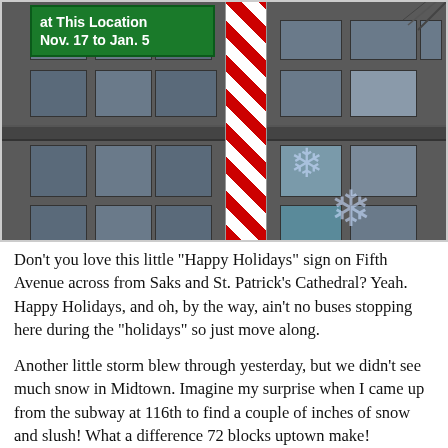[Figure (photo): Street-level photo of a candy-cane striped pole on Fifth Avenue with a green 'Happy Holidays' sign reading 'at This Location Nov. 17 to Jan. 5', with a large stone building facade (Saks Fifth Avenue / St. Patrick's Cathedral area) and snowflake decorations in the background.]
Don't you love this little "Happy Holidays" sign on Fifth Avenue across from Saks and St. Patrick's Cathedral? Yeah. Happy Holidays, and oh, by the way, ain't no buses stopping here during the "holidays" so just move along.
Another little storm blew through yesterday, but we didn't see much snow in Midtown. Imagine my surprise when I came up from the subway at 116th to find a couple of inches of snow and slush! What a difference 72 blocks uptown make!